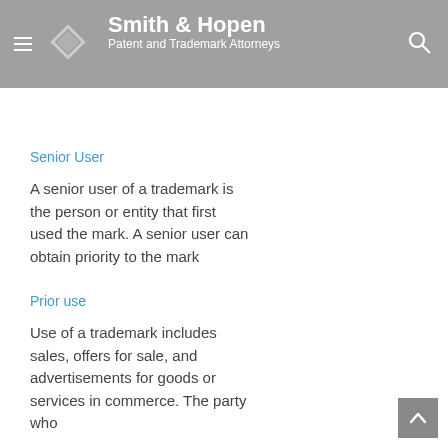Smith & Hopen — Patent and Trademark Attorneys
A junior registrant is a junior user of a trademark who registered the trademark prior to the senior user. Even though
Senior User
A senior user of a trademark is the person or entity that first used the mark. A senior user can obtain priority to the mark
Prior use
Use of a trademark includes sales, offers for sale, and advertisements for goods or services in commerce. The party who